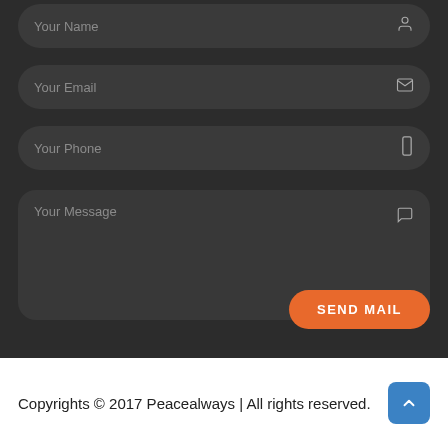[Figure (screenshot): Contact form UI on dark background with fields: Your Name (partially visible at top), Your Email, Your Phone, Your Message (textarea), and a SEND MAIL orange button]
Copyrights © 2017 Peacealways | All rights reserved.